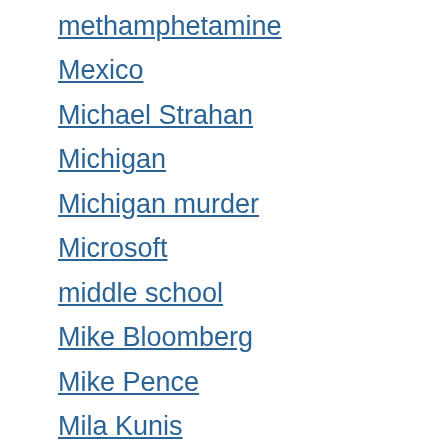methamphetamine
Mexico
Michael Strahan
Michigan
Michigan murder
Microsoft
middle school
Mike Bloomberg
Mike Pence
Mila Kunis
military
millstone creek orchards
MINC
mine
minimum wage